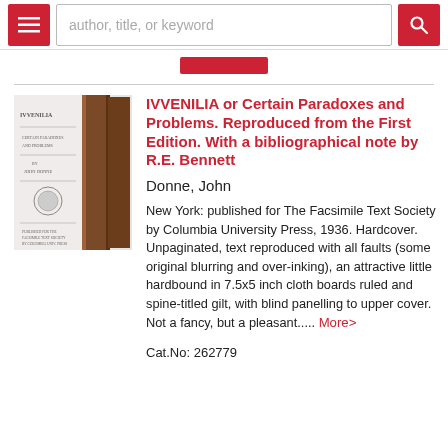author, title, or keyword
[Figure (photo): Book cover photo showing IVVENILIA text on spine, a brown hardbound book leaning against a white title page]
IVVENILIA or Certain Paradoxes and Problems. Reproduced from the First Edition. With a bibliographical note by R.E. Bennett
Donne, John
New York: published for The Facsimile Text Society by Columbia University Press, 1936. Hardcover. Unpaginated, text reproduced with all faults (some original blurring and over-inking), an attractive little hardbound in 7.5x5 inch cloth boards ruled and spine-titled gilt, with blind panelling to upper cover. Not a fancy, but a pleasant..... More>
Cat.No: 262779